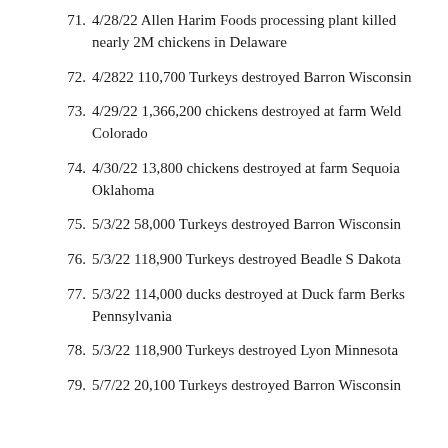71. 4/28/22 Allen Harim Foods processing plant killed nearly 2M chickens in Delaware
72. 4/2822 110,700 Turkeys destroyed Barron Wisconsin
73. 4/29/22 1,366,200 chickens destroyed at farm Weld Colorado
74. 4/30/22 13,800 chickens destroyed at farm Sequoia Oklahoma
75. 5/3/22 58,000 Turkeys destroyed Barron Wisconsin
76. 5/3/22 118,900 Turkeys destroyed Beadle S Dakota
77. 5/3/22 114,000 ducks destroyed at Duck farm Berks Pennsylvania
78. 5/3/22 118,900 Turkeys destroyed Lyon Minnesota
79. 5/7/22 20,100 Turkeys destroyed Barron Wisconsin